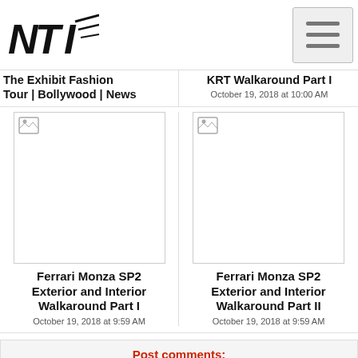NTI logo and hamburger menu
The Exhibit Fashion Tour | Bollywood | News
KRT Walkaround Part I
October 19, 2018 at 10:00 AM
[Figure (photo): Thumbnail image placeholder (broken) for Ferrari Monza SP2 Exterior and Interior Walkaround Part I]
Ferrari Monza SP2 Exterior and Interior Walkaround Part I
October 19, 2018 at 9:59 AM
[Figure (photo): Thumbnail image placeholder (broken) for Ferrari Monza SP2 Exterior and Interior Walkaround Part II]
Ferrari Monza SP2 Exterior and Interior Walkaround Part II
October 19, 2018 at 9:59 AM
Post comments:
Your Name (*) :
Your Email :